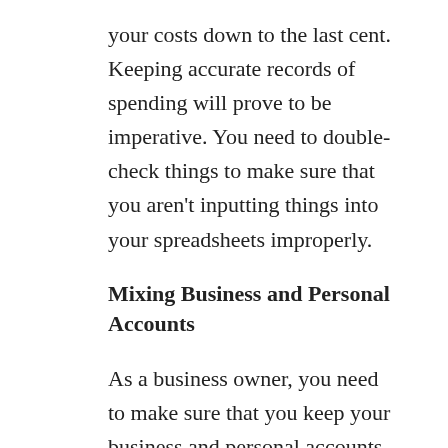your costs down to the last cent. Keeping accurate records of spending will prove to be imperative. You need to double-check things to make sure that you aren't inputting things into your spreadsheets improperly.
Mixing Business and Personal Accounts
As a business owner, you need to make sure that you keep your business and personal accounts separate. If you fail to do so, then things can get messy come tax season. It can complicate things when you are trying to get business loans as well since lenders will need to get a look at your cash flow to determine whether they can lend to you. Make sure that